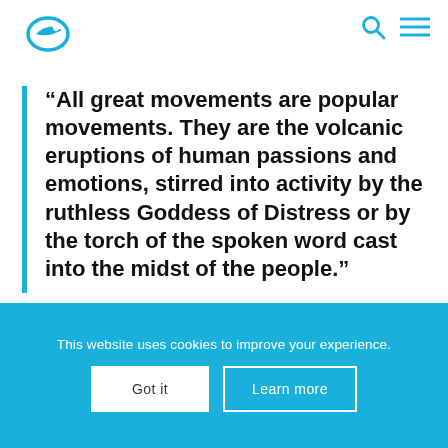[Figure (logo): Blue circular logo with stylized fish/arrow shape, website navigation header with search and menu icons]
“All great movements are popular movements. They are the volcanic eruptions of human passions and emotions, stirred into activity by the ruthless Goddess of Distress or by the torch of the spoken word cast into the midst of the people.”
Adolf Hitler
This website uses cookies to improve your experience.